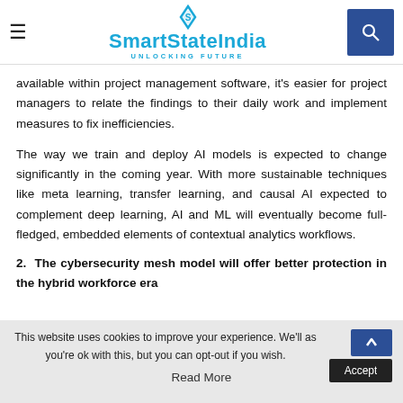SmartStateIndia — UNLOCKING FUTURE
available within project management software, it's easier for project managers to relate the findings to their daily work and implement measures to fix inefficiencies.
The way we train and deploy AI models is expected to change significantly in the coming year. With more sustainable techniques like meta learning, transfer learning, and causal AI expected to complement deep learning, AI and ML will eventually become full-fledged, embedded elements of contextual analytics workflows.
2. The cybersecurity mesh model will offer better protection in the hybrid workforce era
This website uses cookies to improve your experience. We'll as you're ok with this, but you can opt-out if you wish. Accept Read More